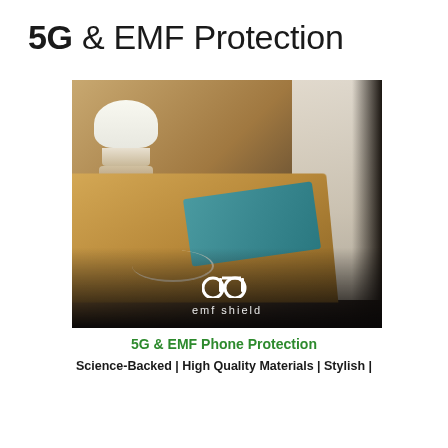5G & EMF Protection
[Figure (photo): Photo of a wooden bedside nightstand with a white cylindrical lamp, teal/blue tablet, earphones with white cable, and curtain in the background. EMF shield logo visible at bottom of image.]
5G & EMF Phone Protection
Science-Backed | High Quality Materials | Stylish |